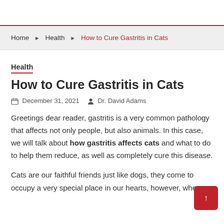Home › Health › How to Cure Gastritis in Cats
Health
How to Cure Gastritis in Cats
December 31, 2021   Dr. David Adams
Greetings dear reader, gastritis is a very common pathology that affects not only people, but also animals. In this case, we will talk about how gastritis affects cats and what to do to help them reduce, as well as completely cure this disease.
Cats are our faithful friends just like dogs, they come to occupy a very special place in our hearts, however, when